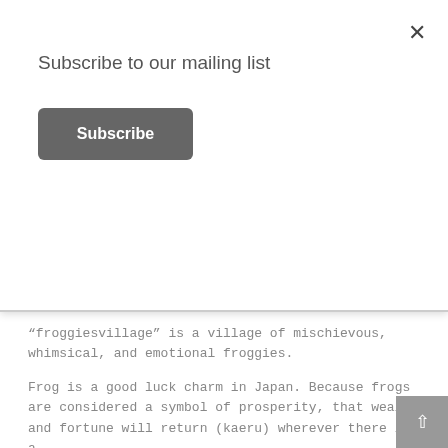Subscribe to our mailing list
Subscribe
“froggiesvillage” is a village of mischievous, whimsical, and emotional froggies.
Frog is a good luck charm in Japan. Because frogs are considered a symbol of prosperity, that wealth and fortune will return (kaeru) wherever there is a frog (kaeru).
*Frog is “Kaeru (蛙)” and also “Kaeru帰る” is “to return” in Japanese.
“I was born and raised in Shizuoka, Japan surrounded by mountains, green tea fields, rice fields, a